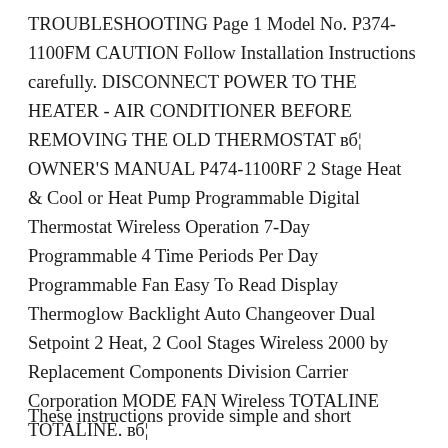TROUBLESHOOTING Page 1 Model No. P374-1100FM CAUTION Follow Installation Instructions carefully. DISCONNECT POWER TO THE HEATER - AIR CONDITIONER BEFORE REMOVING THE OLD THERMOSTAT вб¦ OWNER'S MANUAL P474-1100RF 2 Stage Heat & Cool or Heat Pump Programmable Digital Thermostat Wireless Operation 7-Day Programmable 4 Time Periods Per Day Programmable Fan Easy To Read Display Thermoglow Backlight Auto Changeover Dual Setpoint 2 Heat, 2 Cool Stages Wireless 2000 by Replacement Components Division Carrier Corporation MODE FAN Wireless TOTALINE TOTALINE. вб¦
These instructions provide simple and short